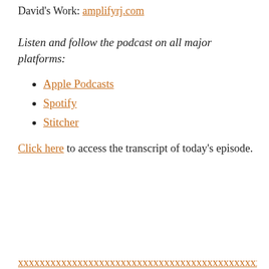David's Work: amplifyrj.com
Listen and follow the podcast on all major platforms:
Apple Podcasts
Spotify
Stitcher
Click here to access the transcript of today's episode.
(clipped footer link)